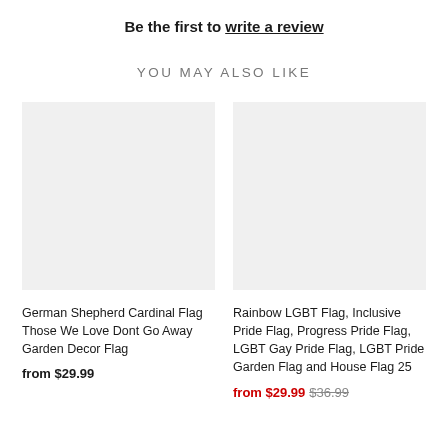Be the first to write a review
YOU MAY ALSO LIKE
[Figure (photo): Product image placeholder (light gray rectangle) for German Shepherd Cardinal Flag product]
German Shepherd Cardinal Flag Those We Love Dont Go Away Garden Decor Flag
from $29.99
[Figure (photo): Product image placeholder (light gray rectangle) for Rainbow LGBT Flag product]
Rainbow LGBT Flag, Inclusive Pride Flag, Progress Pride Flag, LGBT Gay Pride Flag, LGBT Pride Garden Flag and House Flag 25
from $29.99 $36.99